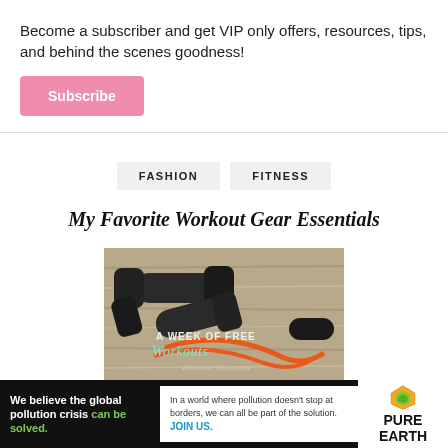Become a subscriber and get VIP only offers, resources, tips, and behind the scenes goodness!
Subscribe
FASHION
FITNESS
My Favorite Workout Gear Essentials
[Figure (photo): Workout gear including dumbbells and resistance bands on a wooden surface with text overlay reading 'A WEEK OF FREE Workouts www.ramyoblog.com']
We believe the global pollution crisis can be solved. In a world where pollution doesn't stop at borders, we can all be part of the solution. JOIN US. PURE EARTH